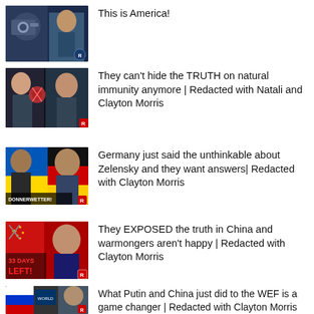[Figure (photo): Thumbnail showing a man with camera/robot equipment, news-style image]
This is America!
[Figure (photo): Thumbnail with people and virus imagery, Redacted logo R]
They can't hide the TRUTH on natural immunity anymore | Redacted with Natali and Clayton Morris
[Figure (photo): Thumbnail with Zelensky and German flag, text DONNERWETTER, Redacted logo R]
Germany just said the unthinkable about Zelensky and they want answers| Redacted with Clayton Morris
[Figure (photo): Thumbnail with Xi Jinping, text 33 DAYS LEFT in red, Redacted logo R]
They EXPOSED the truth in China and warmongers aren't happy | Redacted with Clayton Morris
[Figure (photo): Thumbnail with Putin, China flag, WEF sign, Redacted logo R]
What Putin and China just did to the WEF is a game changer | Redacted with Clayton Morris